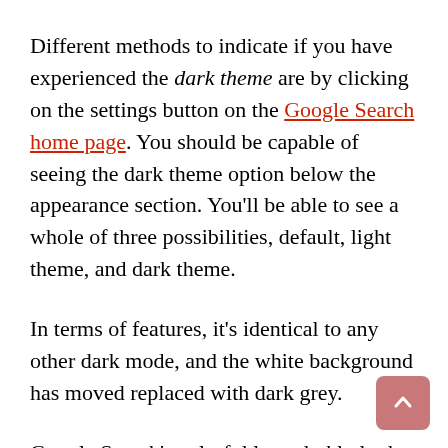Different methods to indicate if you have experienced the dark theme are by clicking on the settings button on the Google Search home page. You should be capable of seeing the dark theme option below the appearance section. You'll be able to see a whole of three possibilities, default, light theme, and dark theme.
In terms of features, it's identical to any other dark mode, and the white background has moved replaced with dark grey.
Google Search's colorful logo darkly looks in white. Nearly every different app in the market now has a dark mode, be it WhatsApp, Instagram, or Facebook. It was regarding